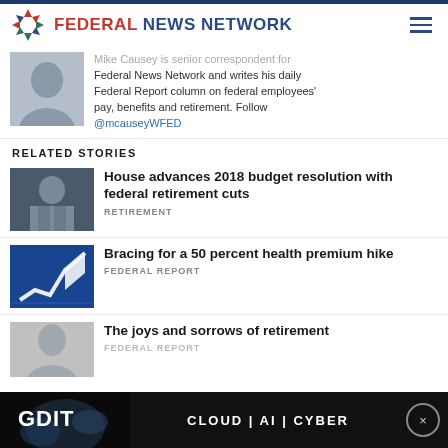FEDERAL NEWS NETWORK
Mike Causey is senior correspondent for Federal News Network and writes his daily Federal Report column on federal employees' pay, benefits and retirement. Follow @mcauseyWFED
RELATED STORIES
[Figure (photo): Man with hands raised, speaking at a hearing]
House advances 2018 budget resolution with federal retirement cuts
RETIREMENT
[Figure (photo): Digital blue arrow trending upward graphic]
Bracing for a 50 percent health premium hike
FEDERAL REPORT
[Figure (photo): Older man portrait, partially cut off at bottom]
The joys and sorrows of retirement
FEDERAL REPORT
[Figure (photo): GDIT advertisement: Cloud | AI | Cyber with jellyfish imagery]